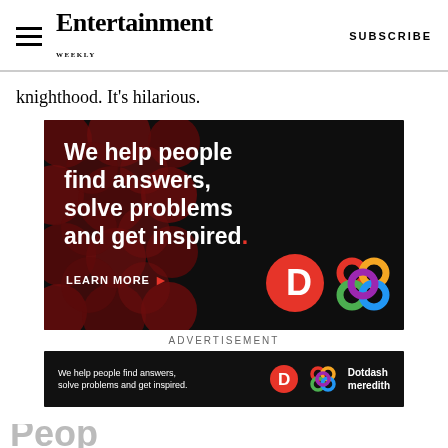Entertainment Weekly — SUBSCRIBE
knighthood. It's hilarious.
[Figure (infographic): Advertisement banner for Dotdash Meredith with text: 'We help people find answers, solve problems and get inspired.' LEARN MORE button with Dotdash and Meredith logos on black background with dark red circles pattern.]
ADVERTISEMENT
[Figure (infographic): Smaller bottom advertisement bar for Dotdash Meredith: 'We help people find answers, solve problems and get inspired.' with logos.]